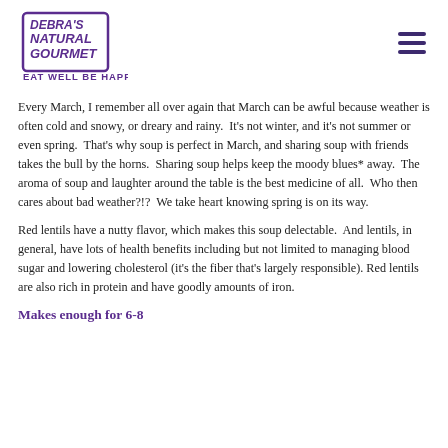[Figure (logo): Debra's Natural Gourmet logo with text 'EAT WELL BE HAPPY' in purple]
Every March, I remember all over again that March can be awful because weather is often cold and snowy, or dreary and rainy.  It's not winter, and it's not summer or even spring.  That's why soup is perfect in March, and sharing soup with friends takes the bull by the horns.  Sharing soup helps keep the moody blues* away.  The aroma of soup and laughter around the table is the best medicine of all.  Who then cares about bad weather?!?  We take heart knowing spring is on its way.
Red lentils have a nutty flavor, which makes this soup delectable.  And lentils, in general, have lots of health benefits including but not limited to managing blood sugar and lowering cholesterol (it's the fiber that's largely responsible). Red lentils are also rich in protein and have goodly amounts of iron.
Makes enough for 6-8